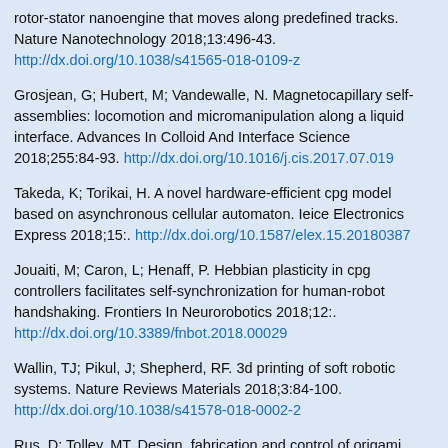rotor-stator nanoengine that moves along predefined tracks. Nature Nanotechnology 2018;13:496-43. http://dx.doi.org/10.1038/s41565-018-0109-z
Grosjean, G; Hubert, M; Vandewalle, N. Magnetocapillary self-assemblies: locomotion and micromanipulation along a liquid interface. Advances In Colloid And Interface Science 2018;255:84-93. http://dx.doi.org/10.1016/j.cis.2017.07.019
Takeda, K; Torikai, H. A novel hardware-efficient cpg model based on asynchronous cellular automaton. Ieice Electronics Express 2018;15:. http://dx.doi.org/10.1587/elex.15.20180387
Jouaiti, M; Caron, L; Henaff, P. Hebbian plasticity in cpg controllers facilitates self-synchronization for human-robot handshaking. Frontiers In Neurorobotics 2018;12:. http://dx.doi.org/10.3389/fnbot.2018.00029
Wallin, TJ; Pikul, J; Shepherd, RF. 3d printing of soft robotic systems. Nature Reviews Materials 2018;3:84-100. http://dx.doi.org/10.1038/s41578-018-0002-2
Rus, D; Tolley, MT. Design, fabrication and control of origami robots. Nature Reviews Materials 2018;3:101-112. http://dx.doi.org/10.1038/s41578-018-0009-8
Palagi, S; Fischer, P. Bioinspired microrobots. Nature Reviews Materials 2018;3:113-124. http://dx.doi.org/10.1038/s41578-018-0016-9
Cianchetti, M; Laschi, C; Menciassi, A; Dario, P. Biomedical